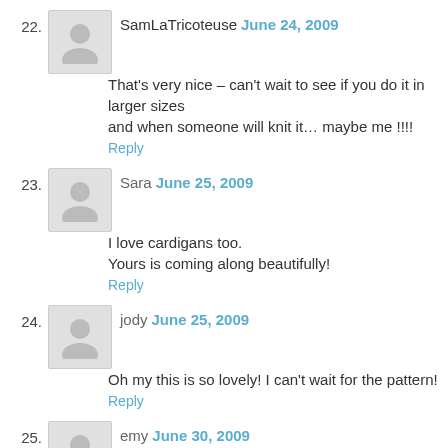22. SamLaTricoteuse June 24, 2009 — That's very nice – can't wait to see if you do it in larger sizes and when someone will knit it… maybe me !!!! Reply
23. Sara June 25, 2009 — I love cardigans too. Yours is coming along beautifully! Reply
24. jody June 25, 2009 — Oh my this is so lovely! I can't wait for the pattern! Reply
25. emy June 30, 2009 — Love the pattern! Reply
26. Pamela Leo July 3, 2009